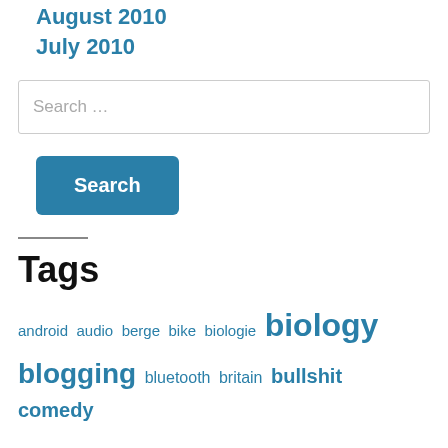August 2010
July 2010
Search …
Search
Tags
android audio berge bike biologie biology blogging bluetooth britain bullshit comedy